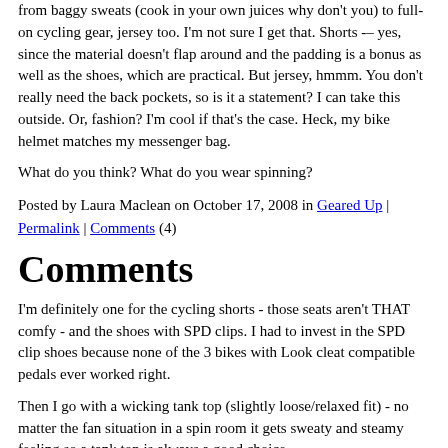from baggy sweats (cook in your own juices why don't you) to full-on cycling gear, jersey too. I'm not sure I get that. Shorts -– yes, since the material doesn't flap around and the padding is a bonus as well as the shoes, which are practical. But jersey, hmmm. You don't really need the back pockets, so is it a statement? I can take this outside. Or, fashion? I'm cool if that's the case. Heck, my bike helmet matches my messenger bag.
What do you think? What do you wear spinning?
Posted by Laura Maclean on October 17, 2008 in Geared Up | Permalink | Comments (4)
Comments
I'm definitely one for the cycling shorts - those seats aren't THAT comfy - and the shoes with SPD clips. I had to invest in the SPD clip shoes because none of the 3 bikes with Look cleat compatible pedals ever worked right.
Then I go with a wicking tank top (slightly loose/relaxed fit) - no matter the fan situation in a spin room it gets sweaty and steamy feeling so a tank top is always a good choice.
I can't believe how fast the full time spin weather will be upon us